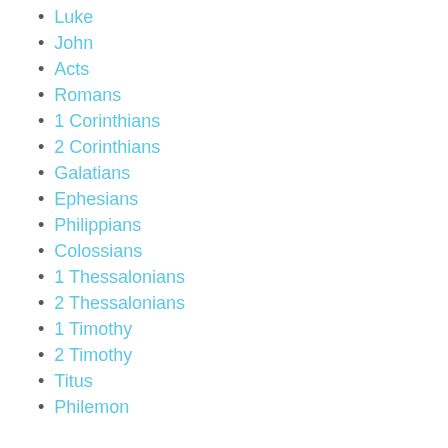Luke
John
Acts
Romans
1 Corinthians
2 Corinthians
Galatians
Ephesians
Philippians
Colossians
1 Thessalonians
2 Thessalonians
1 Timothy
2 Timothy
Titus
Philemon